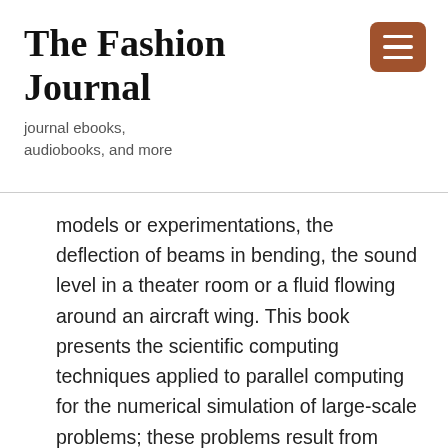The Fashion Journal
journal ebooks, audiobooks, and more
models or experimentations, the deflection of beams in bending, the sound level in a theater room or a fluid flowing around an aircraft wing. This book presents the scientific computing techniques applied to parallel computing for the numerical simulation of large-scale problems; these problems result from systems modeled by partial differential equations. Computing concepts will be tackled via examples. Implementation and programming techniques resulting from the finite element method will be presented for direct solvers, iterative solvers and domain decomposition methods, along with an